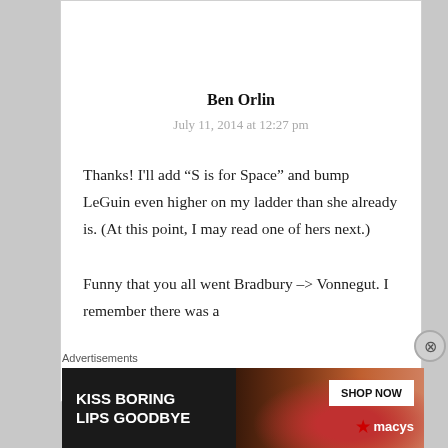Ben Orlin
July 11, 2014 at 12:27 pm
Thanks! I'll add “S is for Space” and bump LeGuin even higher on my ladder than she already is. (At this point, I may read one of hers next.)

Funny that you all went Bradbury –> Vonnegut. I remember there was a
Advertisements
[Figure (photo): Macy's advertisement banner: 'KISS BORING LIPS GOODBYE' with a woman's face and red lips, 'SHOP NOW' button and Macy's logo with red star]